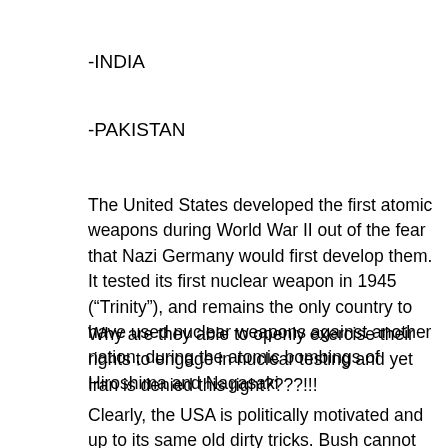-INDIA
-PAKISTAN
The United States developed the first atomic weapons during World War II out of the fear that Nazi Germany would first develop them. It tested its first nuclear weapon in 1945 (“Trinity”), and remains the only country to have used nuclear weapons against another nation, during the atomic bombings of Hiroshima and Nagasaki
Why are they able to openly exercise their rights to engage in nuclear testing and yet Iran is denied this right????!!!
Clearly, the USA is politically motivated and up to its same old dirty tricks. Bush cannot seem to get through a day without viciously lying about something or another in his